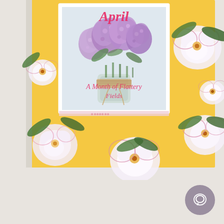[Figure (illustration): Book cover for 'April: A Month of Flattery Fields' — yellow floral background with large pink/white roses and green leaves, centered white-bordered photo of purple lilac bouquet in a twine-wrapped mason jar, pink cursive title 'April' at top, pink italic subtitle 'A Month of Flattery Fields' overlaid on the photo]
[Figure (illustration): Gray circular chat/message button icon in the lower right corner of the page]